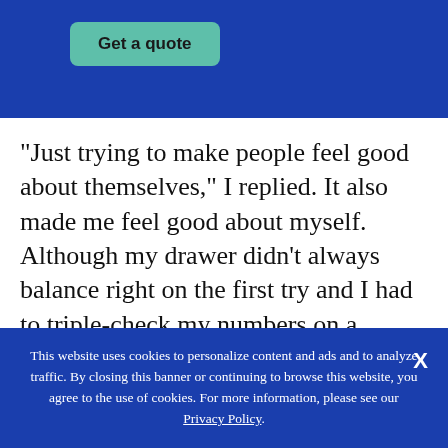[Figure (other): Blue header banner with a teal 'Get a quote' button]
"Just trying to make people feel good about themselves," I replied. It also made me feel good about myself. Although my drawer didn't always balance right on the first try and I had to triple-check my numbers on a savings-bond purchase, my work was drawing praise.
One morning my supervisor came to me with a
This website uses cookies to personalize content and ads and to analyze traffic. By closing this banner or continuing to browse this website, you agree to the use of cookies. For more information, please see our Privacy Policy.